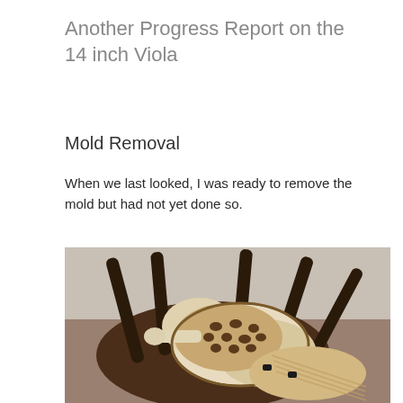Another Progress Report on the 14 inch Viola
Mold Removal
When we last looked, I was ready to remove the mold but had not yet done so.
[Figure (photo): A partial viola body (mold removed) resting on a wooden chair, showing the interior mold with circular holes; the wooden ribs and back of the viola are visible, along with a chair with spindle legs in the background.]